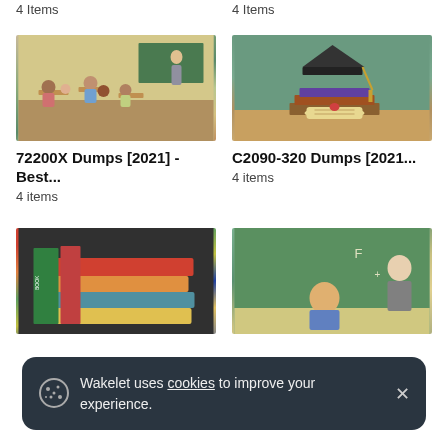4 Items
4 Items
[Figure (photo): Classroom scene with students sitting at desks, teacher at front board]
72200X Dumps [2021] - Best...
4 items
[Figure (photo): Graduation cap and diploma on stack of books]
C2090-320 Dumps [2021...
4 items
[Figure (photo): Stack of colorful books]
[Figure (photo): Teacher lecturing in front of chalkboard]
Wakelet uses cookies to improve your experience.